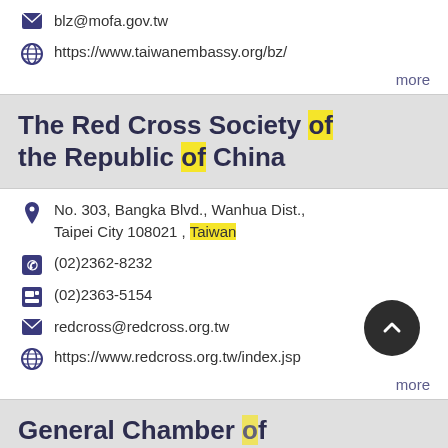blz@mofa.gov.tw
https://www.taiwanembassy.org/bz/
more
The Red Cross Society of the Republic of China
No. 303, Bangka Blvd., Wanhua Dist., Taipei City 108021 , Taiwan
(02)2362-8232
(02)2363-5154
redcross@redcross.org.tw
https://www.redcross.org.tw/index.jsp
more
General Chamber of Commerce of the R.O.C.
6F, No.390, Sec. 1, Fuxing S. Rd., Da'an